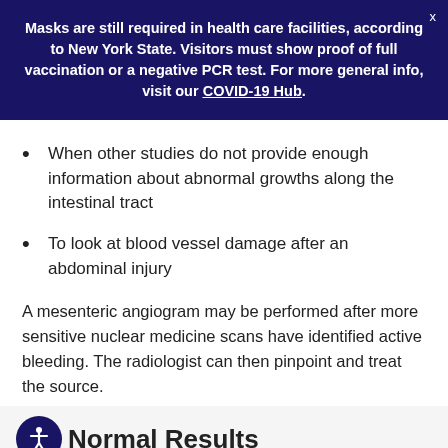Masks are still required in health care facilities, according to New York State. Visitors must show proof of full vaccination or a negative PCR test. For more general info, visit our COVID-19 Hub.
When other studies do not provide enough information about abnormal growths along the intestinal tract
To look at blood vessel damage after an abdominal injury
A mesenteric angiogram may be performed after more sensitive nuclear medicine scans have identified active bleeding. The radiologist can then pinpoint and treat the source.
Normal Results